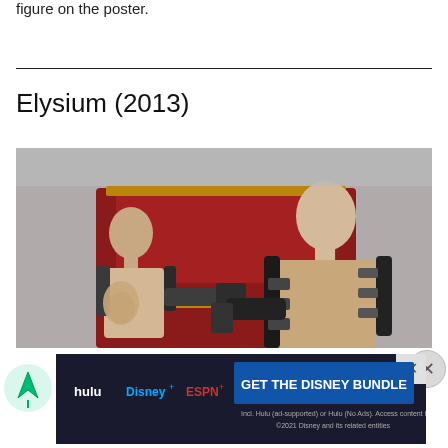figure on the poster.
Elysium (2013)
[Figure (photo): Movie still from Elysium (2013) showing two men with mechanical exoskeletons facing each other in a confrontational pose against a red metallic background.]
[Figure (screenshot): Advertisement banner for The Disney Bundle featuring Hulu, Disney+, and ESPN+ logos with text 'GET THE DISNEY BUNDLE'. Includes fine print: 'Incl. Hulu (ad-supported) or Hulu (No Ads). Access content from each service separately. ©2021 Disney and its related entities']